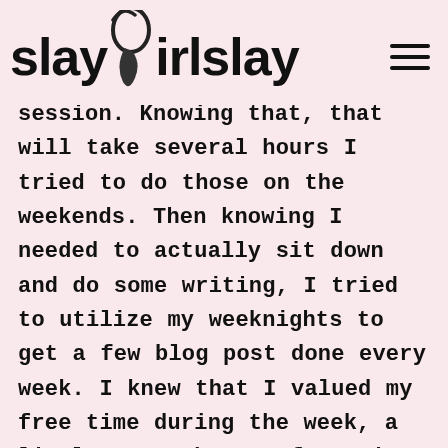slay girl slay
session. Knowing that, that will take several hours I tried to do those on the weekends. Then knowing I needed to actually sit down and do some writing, I tried to utilize my weeknights to get a few blog post done every week. I knew that I valued my free time during the week, a little more than my free time during the weekend – and that's just me personally so I tried to book my weekend time up as much as I could,